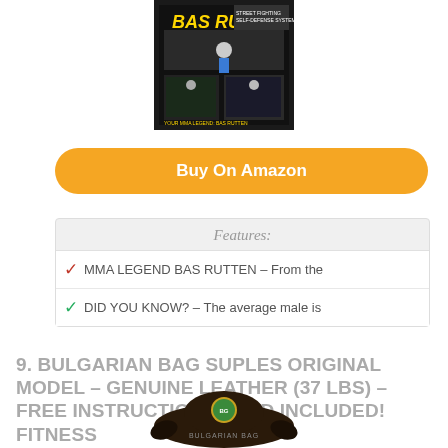[Figure (photo): DVD cover for Bas Rutten MMA self-defense training video]
Buy On Amazon
Features:
MMA LEGEND BAS RUTTEN – From the
DID YOU KNOW? – The average male is
9. BULGARIAN BAG SUPLES ORIGINAL MODEL – GENUINE LEATHER (37 LBS) – FREE INSTRUCTIONAL DVD INCLUDED! FITNESS
[Figure (photo): Bulgarian Bag Suples original model – dark leather crescent-shaped fitness bag with logo]